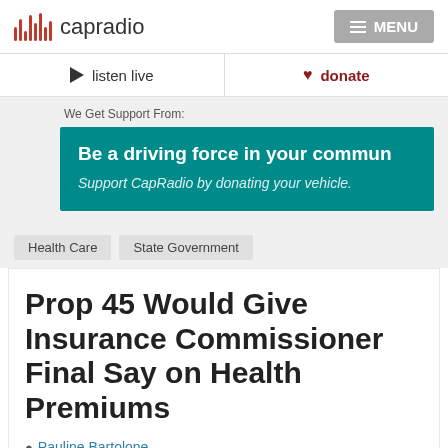capradio | MENU
listen live | donate
We Get Support From:
[Figure (infographic): Teal advertisement banner: 'Be a driving force in your commun[ity] Support CapRadio by donating your vehicle.']
Health Care
State Government
Prop 45 Would Give Insurance Commissioner Final Say on Health Premiums
Pauline Bartolone
Thursday, October 9, 2014 | Sacramento, CA